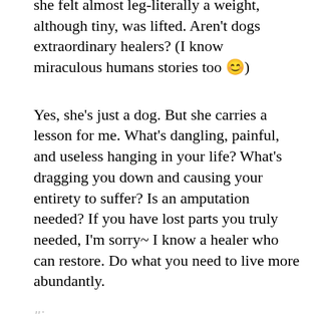she felt almost leg-literally a weight, although tiny, was lifted. Aren't dogs extraordinary healers? (I know miraculous humans stories too 😊)
Yes, she's just a dog. But she carries a lesson for me. What's dangling, painful, and useless hanging in your life? What's dragging you down and causing your entirety to suffer? Is an amputation needed? If you have lost parts you truly needed, I'm sorry~ I know a healer who can restore. Do what you need to live more abundantly.
(partial line visible at bottom of main content area)
Privacy & Cookies: This site uses cookies. By continuing to use this website, you agree to their use. To find out more, including how to control cookies, see here: Cookie Policy
Close and accept
Have faith 💚